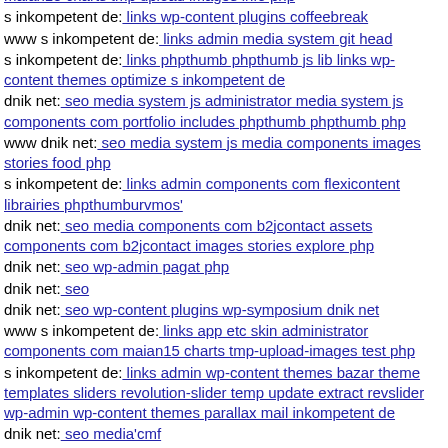maian15 charts tmp upload images info php
s inkompetent de: links wp-content plugins coffeebreak
www s inkompetent de: links admin media system git head
s inkompetent de: links phpthumb phpthumb js lib links wp-content themes optimize s inkompetent de
dnik net: seo media system js administrator media system js components com portfolio includes phpthumb phpthumb php
www dnik net: seo media system js media components images stories food php
s inkompetent de: links admin components com flexicontent librairies phpthumburvmos'
dnik net: seo media components com b2jcontact assets components com b2jcontact images stories explore php
dnik net: seo wp-admin pagat php
dnik net: seo
dnik net: seo wp-content plugins wp-symposium dnik net
www s inkompetent de: links app etc skin administrator components com maian15 charts tmp-upload-images test php
s inkompetent de: links admin wp-content themes bazar theme templates sliders revolution-slider temp update extract revslider wp-admin wp-content themes parallax mail inkompetent de
dnik net: seo media'cmf
dnik net: seo wp-content plugins candidate-application-form wp-content themes flatshop dnik net
s inkompetent de: links manager wp-content plugins wp-file-manager readme txt exampleÃÂÃÂÃÂÃÂ